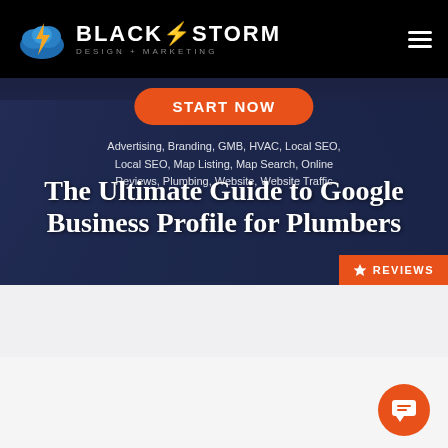BlackStorm Design + Marketing — START NOW
Advertising, Branding, GMB, HVAC, Local SEO, Local SEO, Map Listing, Map Search, Online Reviews, Plumbing, Website, Website Traffic
The Ultimate Guide to Google Business Profile for Plumbers
[Figure (photo): Photo of a laptop keyboard, blue glasses, and a smartphone on a desk]
REVIEWS